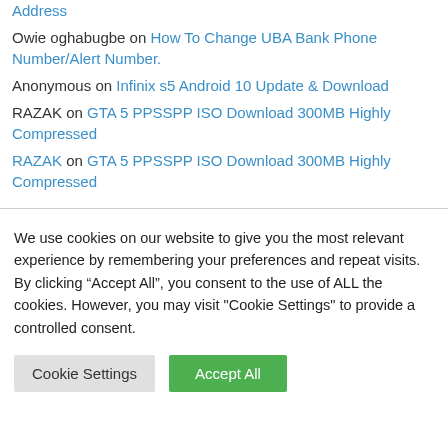Address
Owie oghabugbe on How To Change UBA Bank Phone Number/Alert Number.
Anonymous on Infinix s5 Android 10 Update & Download
RAZAK on GTA 5 PPSSPP ISO Download 300MB Highly Compressed
RAZAK on GTA 5 PPSSPP ISO Download 300MB Highly Compressed
We use cookies on our website to give you the most relevant experience by remembering your preferences and repeat visits. By clicking “Accept All”, you consent to the use of ALL the cookies. However, you may visit "Cookie Settings" to provide a controlled consent.